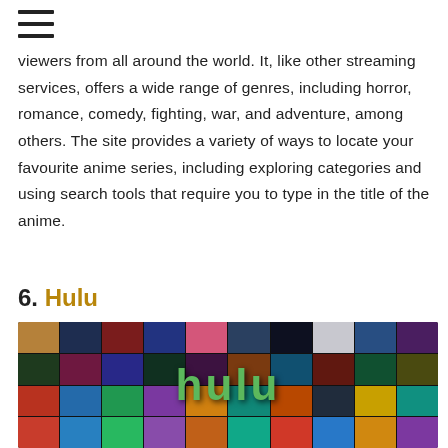≡
viewers from all around the world. It, like other streaming services, offers a wide range of genres, including horror, romance, comedy, fighting, war, and adventure, among others. The site provides a variety of ways to locate your favourite anime series, including exploring categories and using search tools that require you to type in the title of the anime.
6. Hulu
[Figure (photo): Hulu promotional collage showing various TV show thumbnails with large green 'hulu' logo overlaid in the center]